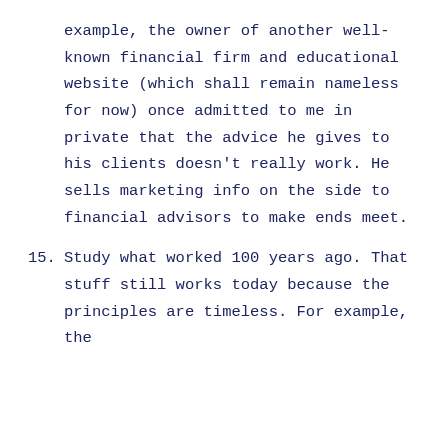example, the owner of another well-known financial firm and educational website (which shall remain nameless for now) once admitted to me in private that the advice he gives to his clients doesn't really work. He sells marketing info on the side to financial advisors to make ends meet.
15. Study what worked 100 years ago. That stuff still works today because the principles are timeless. For example, the